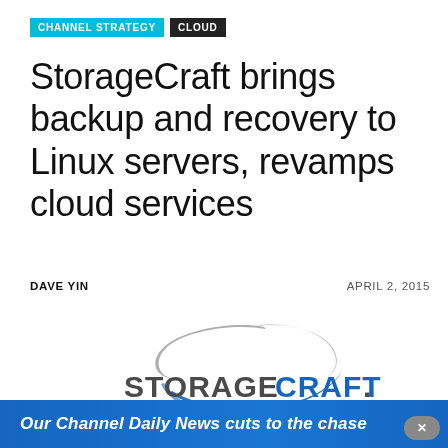CHANNEL STRATEGY   CLOUD
StorageCraft brings backup and recovery to Linux servers, revamps cloud services
DAVE YIN   APRIL 2, 2015
[Figure (logo): StorageCraft logo with swoosh graphic above the text STORAGECRAFT. in gray and blue]
Our Channel Daily News cuts to the chase